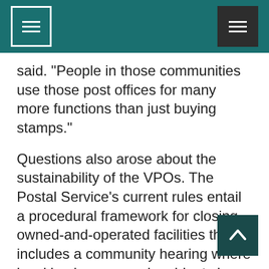[Navigation header with menu icons]
said. "People in those communities use those post offices for many more functions than just buying stamps."
Questions also arose about the sustainability of the VPOs. The Postal Service's current rules entail a procedural framework for closing owned-and-operated facilities that includes a community hearing where local businesses and residents have a chance to raise concerns about the impact of losing their post office. No such process would apply to the VPOs. The current mechanism available to interested parties to appeal to the